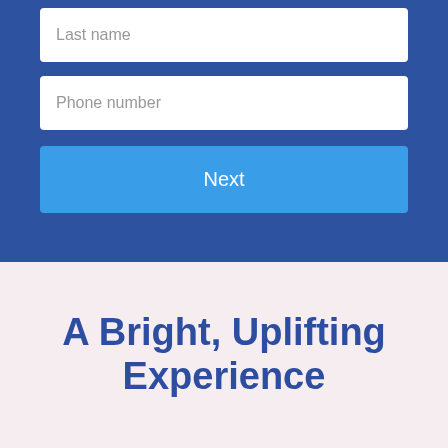Last name
Phone number
Next
A Bright, Uplifting Experience